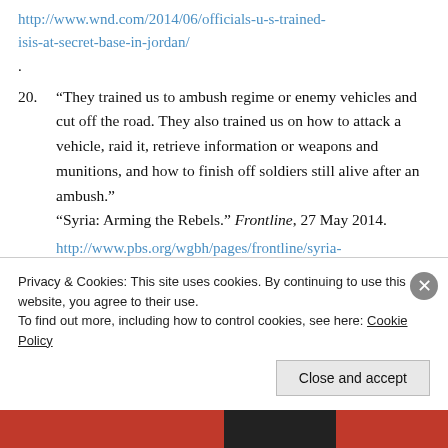http://www.wnd.com/2014/06/officials-u-s-trained-isis-at-secret-base-in-jordan/.
20. “They trained us to ambush regime or enemy vehicles and cut off the road. They also trained us on how to attack a vehicle, raid it, retrieve information or weapons and munitions, and how to finish off soldiers still alive after an ambush.” “Syria: Arming the Rebels.” Frontline, 27 May 2014.
http://www.pbs.org/wgbh/pages/frontline/syria-
Privacy & Cookies: This site uses cookies. By continuing to use this website, you agree to their use.
To find out more, including how to control cookies, see here: Cookie Policy
Close and accept